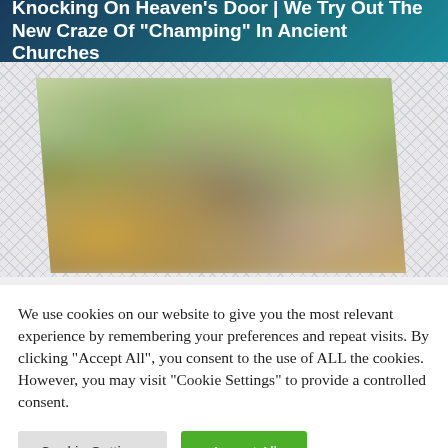Knocking On Heaven's Door | We Try Out The New Craze Of "Champing" In Ancient Churches
[Figure (photo): Blurred outdoor photo showing a garden or churchyard scene with green trees and warm-toned ground, viewed through a parallelogram-shaped frame over a crosshatch background.]
We use cookies on our website to give you the most relevant experience by remembering your preferences and repeat visits. By clicking "Accept All", you consent to the use of ALL the cookies. However, you may visit "Cookie Settings" to provide a controlled consent.
Cookie Settings
Accept All